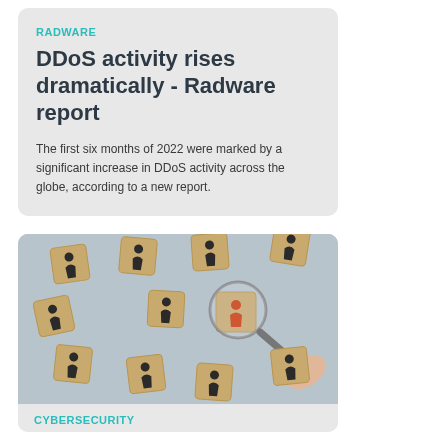RADWARE
DDoS activity rises dramatically - Radware report
The first six months of 2022 were marked by a significant increase in DDoS activity across the globe, according to a new report.
[Figure (photo): Photo of wooden blocks arranged in a circle on a grey surface, each showing a black silhouette of a person, with one block under a magnifying glass showing a red/orange person silhouette, held by a hand.]
CYBERSECURITY